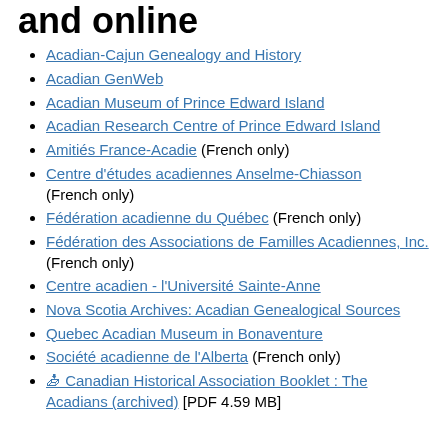and online
Acadian-Cajun Genealogy and History
Acadian GenWeb
Acadian Museum of Prince Edward Island
Acadian Research Centre of Prince Edward Island
Amitiés France-Acadie (French only)
Centre d'études acadiennes Anselme-Chiasson (French only)
Fédération acadienne du Québec (French only)
Fédération des Associations de Familles Acadiennes, Inc. (French only)
Centre acadien - l'Université Sainte-Anne
Nova Scotia Archives: Acadian Genealogical Sources
Quebec Acadian Museum in Bonaventure
Société acadienne de l'Alberta (French only)
🕮 Canadian Historical Association Booklet : The Acadians (archived) [PDF 4.59 MB]